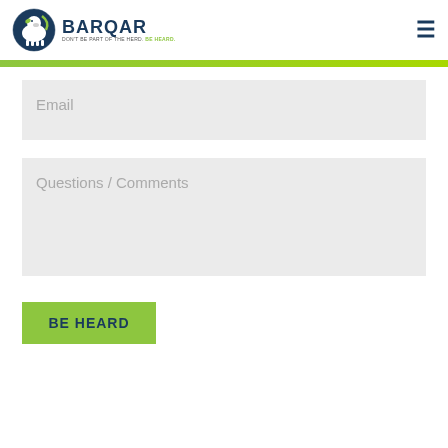[Figure (logo): BARQAR logo with sheep icon and tagline DON'T BE PART OF THE HERD. BE HEARD.]
Email
Questions / Comments
BE HEARD